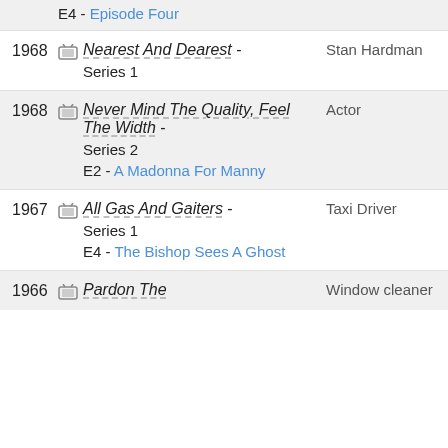E4 - Episode Four
1968 | Nearest And Dearest - Series 1 | Stan Hardman
1968 | Never Mind The Quality, Feel The Width - Series 2 | E2 - A Madonna For Manny | Actor
1967 | All Gas And Gaiters - Series 1 | E4 - The Bishop Sees A Ghost | Taxi Driver
1966 | Pardon The | Window cleaner